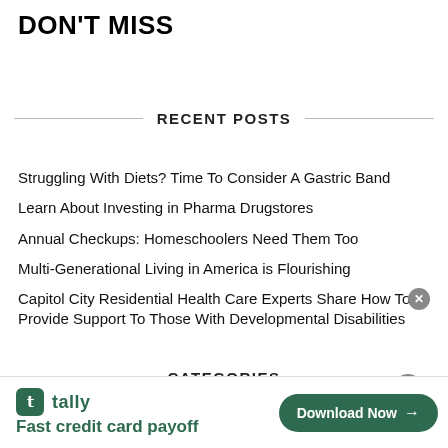DON'T MISS
RECENT POSTS
Struggling With Diets? Time To Consider A Gastric Band
Learn About Investing in Pharma Drugstores
Annual Checkups: Homeschoolers Need Them Too
Multi-Generational Living in America is Flourishing
Capitol City Residential Health Care Experts Share How To Provide Support To Those With Developmental Disabilities
CATEGORIES
[Figure (infographic): Tally app advertisement banner at bottom of page: 'Fast credit card payoff' with Download Now button]